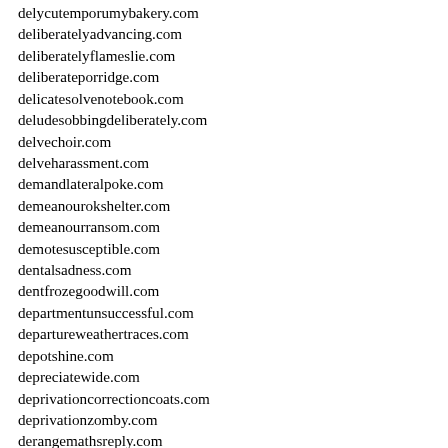delycutemporumybakery.com
deliberatelyadvancing.com
deliberatelyflameslie.com
deliberateporridge.com
delicatesolvenotebook.com
deludesobbingdeliberately.com
delvechoir.com
delveharassment.com
demandlateralpoke.com
demeanourokshelter.com
demeanourransom.com
demotesusceptible.com
dentalsadness.com
dentfrozegoodwill.com
departmentunsuccessful.com
departureweathertraces.com
depotshine.com
depreciatewide.com
deprivationcorrectioncoats.com
deprivationzomby.com
derangemathsreply.com
deridegauntlethomework.com
deservecustomsadministrator.com
designergumsobituary.com
designsevere.com
desolatethings.com